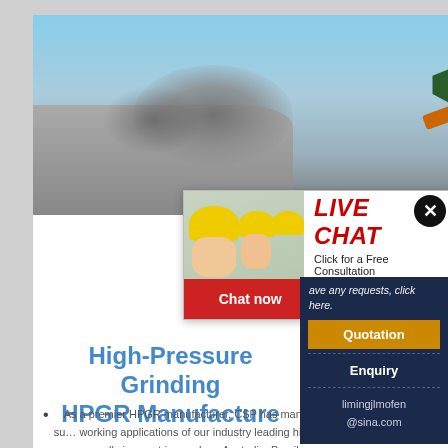[Figure (photo): Industrial scene with heavy mining/crushing equipment and excavator against blue sky backdrop, material falling/being processed]
[Figure (photo): Live Chat popup overlay with construction workers in yellow hard hats on left, red LIVE CHAT text with 'Click for a Free Consultation' subtitle, Chat now (red) and Chat later (dark) buttons]
[Figure (photo): Customer support representative with headset smiling, with close (X) button overlay. Right sidebar with navy background showing Quotation (orange), Enquiry, and limingjlmofen@sina.com contact info]
High-Pressure Grinding
HPGR Manufacture
As a premier HPGR manufacturer, CSP has many successful working applications of our industry leading high-pressure grinding rolls in countries such as Australia, Brazil, Canada, China, Germany, Mexico, Russia, and South Africa. With global presence, we